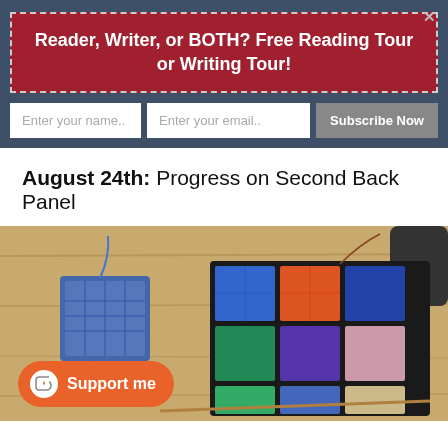Reader, Writer, or BOTH? Free Reading Tour or Writing Tour!
Enter your name.. Enter your email.. Subscribe Now
August 24th: Progress on Second Back Panel
[Figure (photo): Crochet/knitting project on a wooden table showing colorful granny squares joined together with black yarn, and a smaller blue square nearby. A Ko-fi support button overlays the bottom left.]